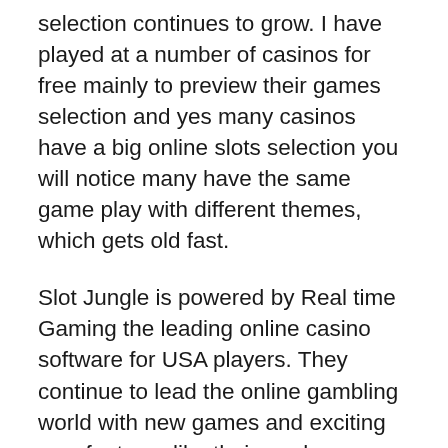selection continues to grow. I have played at a number of casinos for free mainly to preview their games selection and yes many casinos have a big online slots selection you will notice many have the same game play with different themes, which gets old fast.
Slot Jungle is powered by Real time Gaming the leading online casino software for USA players. They continue to lead the online gambling world with new games and exciting new features like their random jackpot feature which gives players a chance to hit a jackpot after ever spin and the latest win-win feature. For me the most exciting part of online video slots is triggering a bonus round or free spins which does not happen very often. One of the most frustrating things in